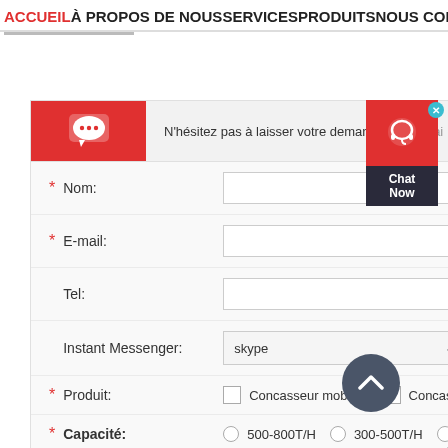ACCUEIL À PROPOS DE NOUS SERVICES PRODUITS NOUS CONTACTER
[Figure (screenshot): Contact form with fields: Nom, E-mail, Tel, Instant Messenger (skype dropdown), Produit (checkboxes: Concasseur mobile, Concasseur fixe), Capacité (radio buttons: 500-800T/H, 300-500T/H, 200-30..., 30-50T/H, <30T/H, Autre). Red icon header with speech bubble. Chat Now widget overlay. Scroll-to-top button.]
N'hésitez pas à laisser votre demande dans le formulaire ci-dessous, et nous vous contacterons dès que possible.